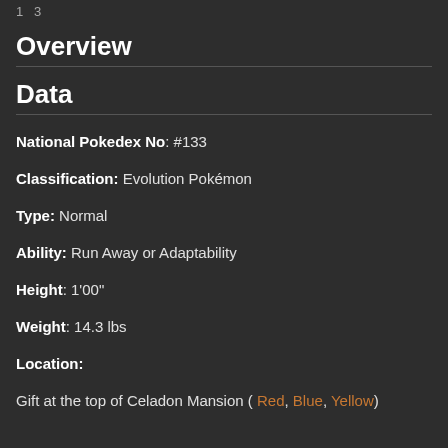1 3
Overview
Data
National Pokedex No: #133
Classification: Evolution Pokémon
Type: Normal
Ability: Run Away or Adaptability
Height: 1'00"
Weight: 14.3 lbs
Location:
Gift at the top of Celadon Mansion ( Red, Blue, Yellow)